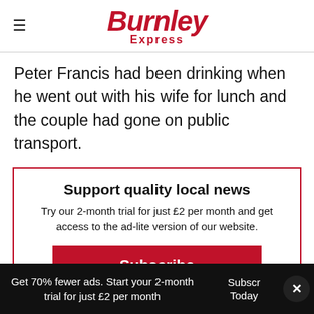Burnley Express
Peter Francis had been drinking when he went out with his wife for lunch and the couple had gone on public transport.
Support quality local news
Try our 2-month trial for just £2 per month and get access to the ad-lite version of our website.
Subscribe
Already subscribed? Log in here
Get 70% fewer ads. Start your 2-month trial for just £2 per month  Subscribe Today  ×